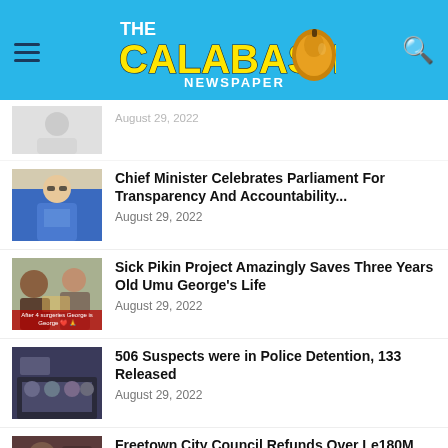The Calabash Newspaper
[Figure (photo): Partial news article thumbnail (person in white coat), cropped at top]
August 29, 2022
[Figure (photo): Man in blue blazer and sunglasses]
Chief Minister Celebrates Parliament For Transparency And Accountability...
August 29, 2022
[Figure (photo): Group of people; overlay text: After 4 surgeries George is 🙏 ❤️]
Sick Pikin Project Amazingly Saves Three Years Old Umu George's Life
August 29, 2022
[Figure (photo): Police officers at a table in uniform]
506 Suspects were in Police Detention, 133 Released
August 29, 2022
[Figure (photo): Partial thumbnail, dark background]
Freetown City Council Refunds Over Le180M